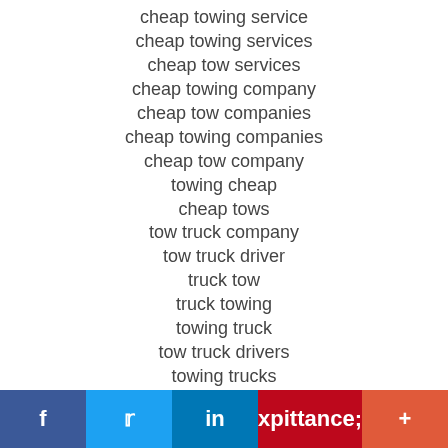cheap towing service
cheap towing services
cheap tow services
cheap towing company
cheap tow companies
cheap towing companies
cheap tow company
towing cheap
cheap tows
tow truck company
tow truck driver
truck tow
truck towing
towing truck
tow truck drivers
towing trucks
tow truck companies
truck and tow